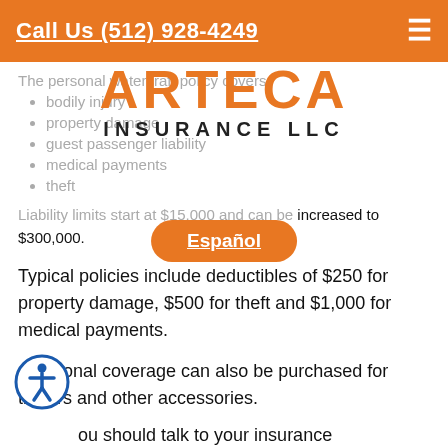Call Us (512) 928-4249
[Figure (logo): Arteca Insurance LLC logo overlay]
The personal watercraft policy covers:
bodily injury
property damage
guest passenger liability
medical payments
theft
Liability limits start at $15,000 and can be increased to $300,000.
Typical policies include deductibles of $250 for property damage, $500 for theft and $1,000 for medical payments.
Additional coverage can also be purchased for trailers and other accessories.
You should talk to your insurance representative about the type of coverage